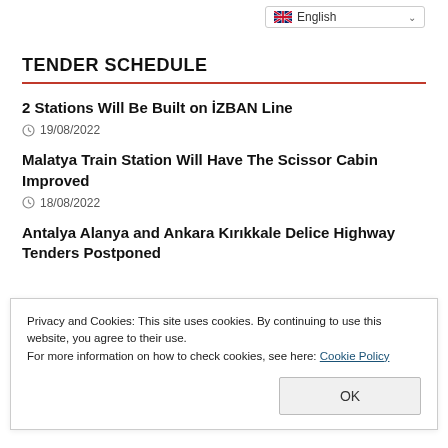English
TENDER SCHEDULE
2 Stations Will Be Built on İZBAN Line
19/08/2022
Malatya Train Station Will Have The Scissor Cabin Improved
18/08/2022
Antalya Alanya and Ankara Kırıkkale Delice Highway Tenders Postponed
Privacy and Cookies: This site uses cookies. By continuing to use this website, you agree to their use.
For more information on how to check cookies, see here: Cookie Policy